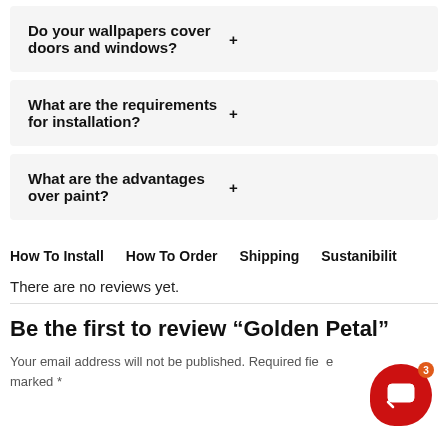Do your wallpapers cover doors and windows? +
What are the requirements for installation? +
What are the advantages over paint? +
How To Install   How To Order   Shipping   Sustanibilit
There are no reviews yet.
Be the first to review “Golden Petal”
Your email address will not be published. Required fields are marked *